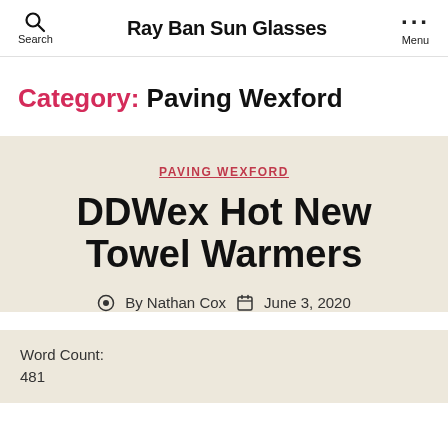Ray Ban Sun Glasses
Category: Paving Wexford
PAVING WEXFORD
DDWex Hot New Towel Warmers
By Nathan Cox   June 3, 2020
Word Count:
481